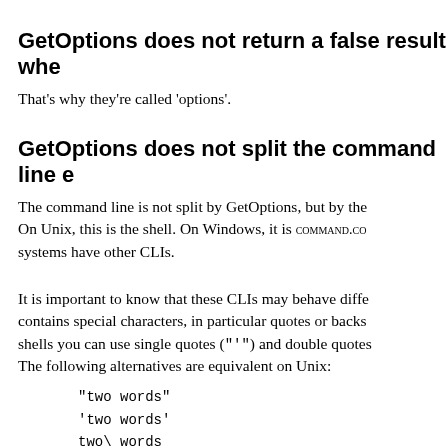GetOptions does not return a false result whe
That's why they're called 'options'.
GetOptions does not split the command line e
The command line is not split by GetOptions, but by the On Unix, this is the shell. On Windows, it is COMMAND.CO systems have other CLIs.
It is important to know that these CLIs may behave diffe contains special characters, in particular quotes or backs shells you can use single quotes ("'") and double quotes The following alternatives are equivalent on Unix:
"two words"
'two words'
two\ words